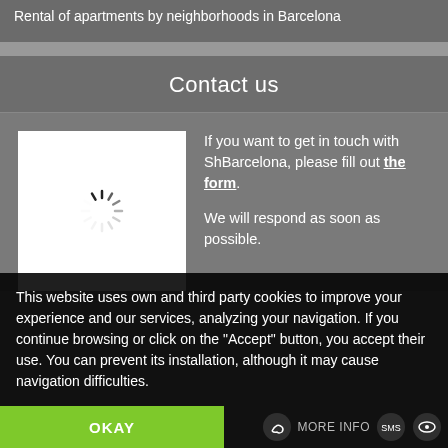Rental of apartments by neighborhoods in Barcelona
Contact us
[Figure (illustration): White box with a loading spinner (circular dashed spokes) in the center]
If you want to get in touch with ShBarcelona, please fill out the form. We will respond as soon as possible.
This website uses own and third party cookies to improve your experience and our services, analyzing your navigation. If you continue browsing or click on the "Accept" button, you accept their use. You can prevent its installation, although it may cause navigation difficulties.
OKAY
MORE INFO